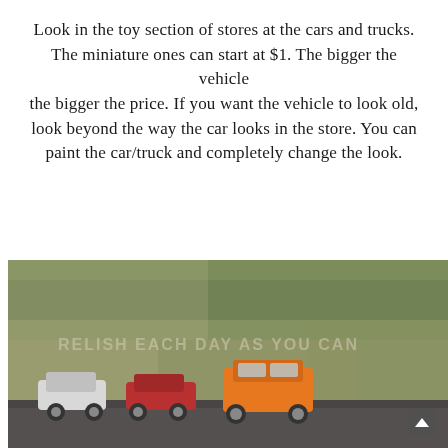Look in the toy section of stores at the cars and trucks. The miniature ones can start at $1. The bigger the vehicle the bigger the price. If you want the vehicle to look old, look beyond the way the car looks in the store. You can paint the car/truck and completely change the look.
[Figure (photo): Photo of miniature toy cars and trucks (white, red, orange) arranged in front of a weathered green/tan wall with faded text 'RELISH EACH DAY AS YOU CAN' painted on it.]